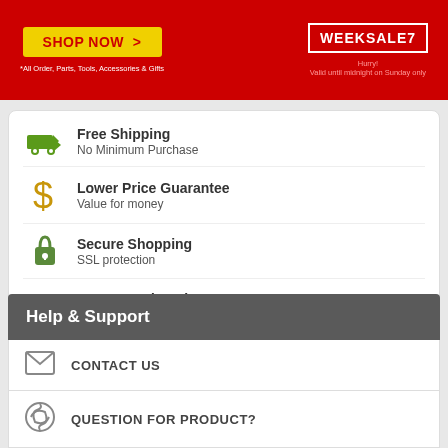[Figure (infographic): Red promotional banner with yellow SHOP NOW button and WEEKSALE7 badge. Text: *All Order, Parts, Tools, Accessories & Gifts. Hurry! Valid until midnight on Sunday only.]
Free Shipping
No Minimum Purchase
Lower Price Guarantee
Value for money
Secure Shopping
SSL protection
Guaranteed to Fit
Order with confidence
Hassle-Free Returns
We make it easy
Help & Support
CONTACT US
QUESTION FOR PRODUCT?